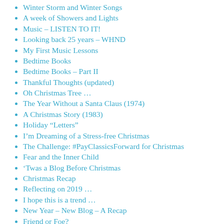Winter Storm and Winter Songs
A week of Showers and Lights
Music – LISTEN TO IT!
Looking back 25 years – WHND
My First Music Lessons
Bedtime Books
Bedtime Books – Part II
Thankful Thoughts (updated)
Oh Christmas Tree …
The Year Without a Santa Claus (1974)
A Christmas Story (1983)
Holiday “Letters”
I’m Dreaming of a Stress-free Christmas
The Challenge: #PayClassicsForward for Christmas
Fear and the Inner Child
‘Twas a Blog Before Christmas
Christmas Recap
Reflecting on 2019 …
I hope this is a trend …
New Year – New Blog – A Recap
Friend or Foe?
Ice, Ice … Maybe
A Novel Idea
A Reading Blog…